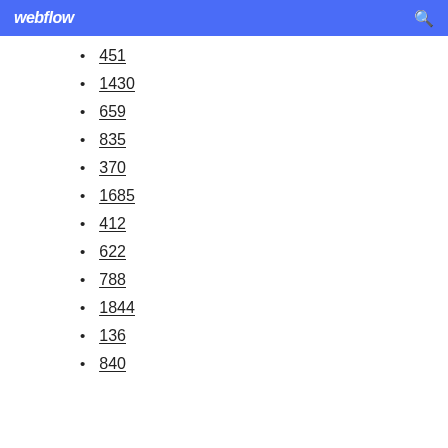webflow
451
1430
659
835
370
1685
412
622
788
1844
136
840